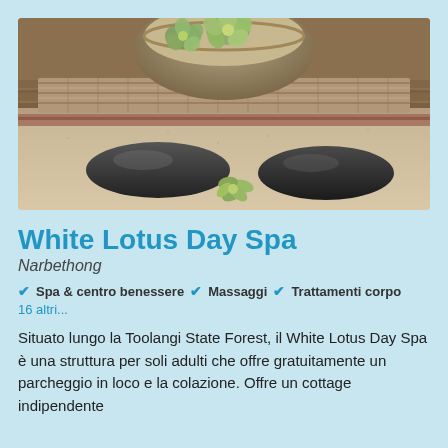[Figure (photo): Spa scene with two smooth black stones on sand, a small green succulent plant between them, and a bowl with lotus flowers in the background on a wooden surface.]
White Lotus Day Spa
Narbethong
✔ Spa & centro benessere  ✔ Massaggi  ✔ Trattamenti corpo
16 altri...
Situato lungo la Toolangi State Forest, il White Lotus Day Spa è una struttura per soli adulti che offre gratuitamente un parcheggio in loco e la colazione. Offre un cottage indipendente